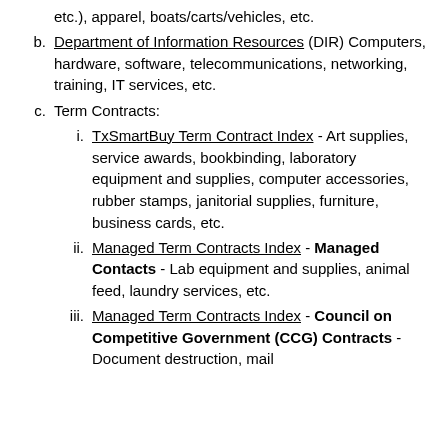etc.), apparel, boats/carts/vehicles, etc.
Department of Information Resources (DIR) Computers, hardware, software, telecommunications, networking, training, IT services, etc.
Term Contracts:
TxSmartBuy Term Contract Index - Art supplies, service awards, bookbinding, laboratory equipment and supplies, computer accessories, rubber stamps, janitorial supplies, furniture, business cards, etc.
Managed Term Contracts Index - Managed Contacts - Lab equipment and supplies, animal feed, laundry services, etc.
Managed Term Contracts Index - Council on Competitive Government (CCG) Contracts - Document destruction, mail